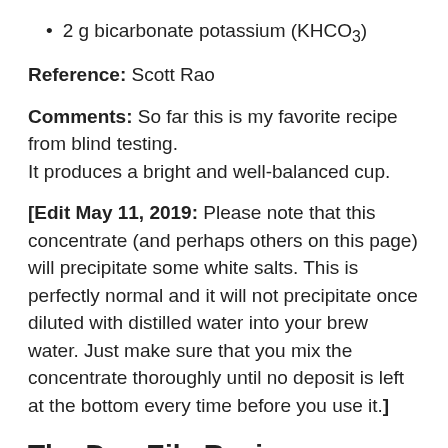2 g bicarbonate potassium (KHCO3)
Reference: Scott Rao
Comments: So far this is my favorite recipe from blind testing.
It produces a bright and well-balanced cup.
[Edit May 11, 2019: Please note that this concentrate (and perhaps others on this page) will precipitate some white salts. This is perfectly normal and it will not precipitate once diluted with distilled water into your brew water. Just make sure that you mix the concentrate thoroughly until no deposit is left at the bottom every time before you use it.]
The Dan Eils Recipe